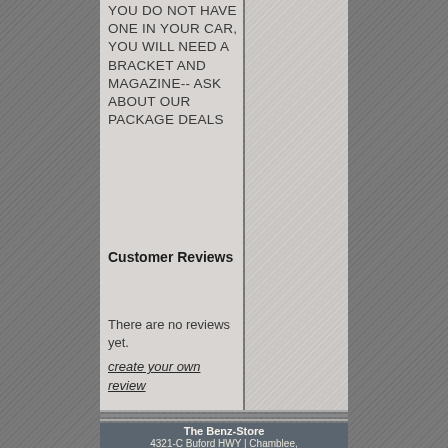YOU DO NOT HAVE ONE IN YOUR CAR, YOU WILL NEED A BRACKET AND MAGAZINE-- ASK ABOUT OUR PACKAGE DEALS
Customer Reviews
There are no reviews yet. create your own review
The Benz-Store 4321-C Buford HWY | Chamblee,